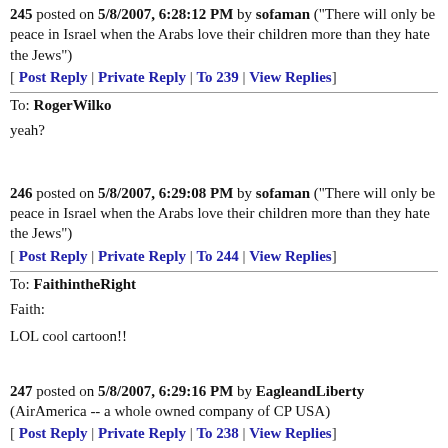245 posted on 5/8/2007, 6:28:12 PM by sofaman ("There will only be peace in Israel when the Arabs love their children more than they hate the Jews")
[ Post Reply | Private Reply | To 239 | View Replies ]
To: RogerWilko
yeah?
246 posted on 5/8/2007, 6:29:08 PM by sofaman ("There will only be peace in Israel when the Arabs love their children more than they hate the Jews")
[ Post Reply | Private Reply | To 244 | View Replies ]
To: FaithintheRight
Faith:
LOL cool cartoon!!
247 posted on 5/8/2007, 6:29:16 PM by EagleandLiberty (AirAmerica -- a whole owned company of CP USA)
[ Post Reply | Private Reply | To 238 | View Replies ]
To: sofaman